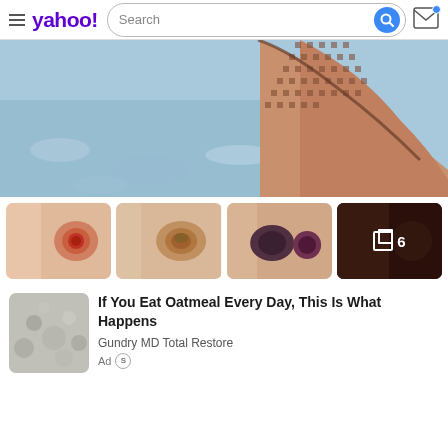yahoo! Search
[Figure (photo): Close-up of a person's shoulder/back with sunlight pattern from a mesh fabric, near water]
[Figure (photo): Strip of 4 thumbnail medical skin condition images; the last thumbnail shows a +6 more indicator]
[Figure (photo): Small thumbnail of oatmeal]
If You Eat Oatmeal Every Day, This Is What Happens
Gundry MD Total Restore
Ad